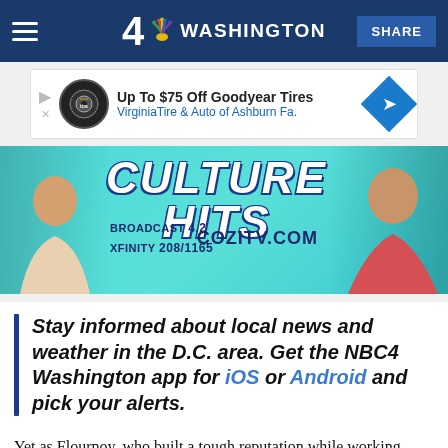4 NBC WASHINGTON | SHARE
[Figure (screenshot): Advertisement banner: Up To $75 Off Goodyear Tires - VirginiaTire & Auto of Ashburn Fa.]
[Figure (photo): COZI TV Culture Hits promotional banner showing BROADCAST 4.2 XFINITY 208/1165 COZITV.COM with two people on either side]
Stay informed about local news and weather in the D.C. area. Get the NBC4 Washington app for iOS or Android and pick your alerts.
Yet as Flournoy, who built a tough reputation while working